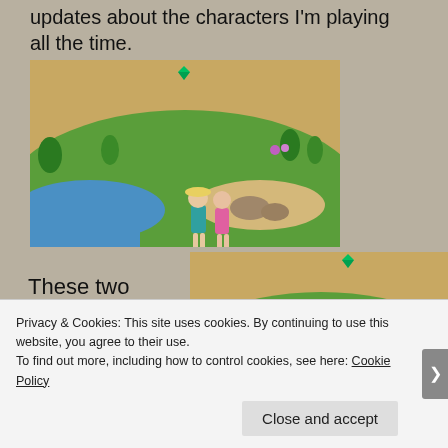updates about the characters I'm playing all the time.
[Figure (screenshot): The Sims 4 gameplay screenshot showing two Sim characters near a pool and landscaped garden with sandy terrain in the background. One character wears a teal swimsuit and hat, the other wears a pink swimsuit.]
[Figure (screenshot): The Sims 4 gameplay screenshot showing two Sim characters near a pool outside, one in a teal outfit with hat and one in pink/red. Green diamond plumbob visible above characters. Sandy landscape in background.]
These two characters are Arwen
Privacy & Cookies: This site uses cookies. By continuing to use this website, you agree to their use.
To find out more, including how to control cookies, see here: Cookie Policy
Close and accept